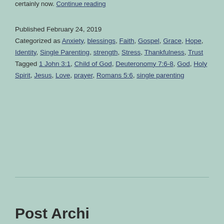certainly now. Continue reading
Published February 24, 2019
Categorized as Anxiety, blessings, Faith, Gospel, Grace, Hope, Identity, Single Parenting, strength, Stress, Thankfulness, Trust
Tagged 1 John 3:1, Child of God, Deuteronomy 7:6-8, God, Holy Spirit, Jesus, Love, prayer, Romans 5:6, single parenting
Post Archives